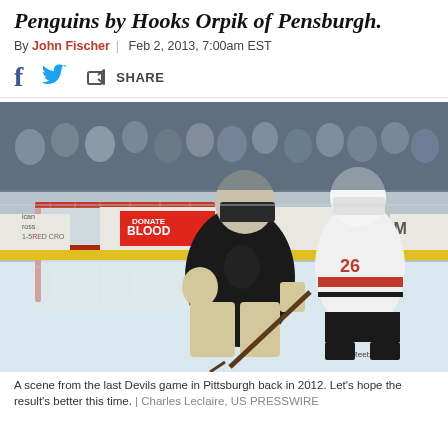Penguins by Hooks Orpik of Pensburgh.
By John Fischer | Feb 2, 2013, 7:00am EST
SHARE
[Figure (photo): A hockey game scene showing a Pittsburgh Penguins goalie in black crouching in front of the net and a New Jersey Devils player number 26 in white and red uniform skating nearby, with a crowd of spectators visible in the background. Advertisement banners including 'DONATE BLOOD' and 'RED CROSS' visible on the boards.]
A scene from the last Devils game in Pittsburgh back in 2012. Let's hope the result's better this time. | Charles Leclaire, US PRESSWIRE